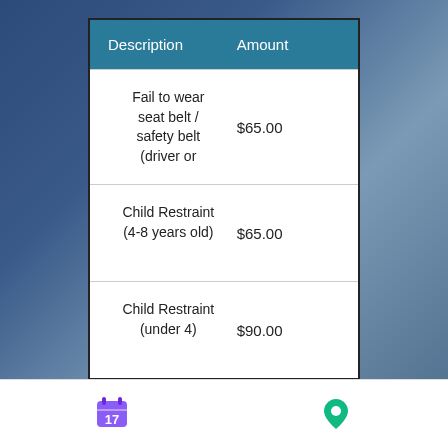| Description | Amount |
| --- | --- |
| Fail to wear seat belt / safety belt (driver or | $65.00 |
| Child Restraint (4-8 years old) | $65.00 |
| Child Restraint (under 4) | $90.00 |
Texting While Driving or Cell Phone Use CMV: